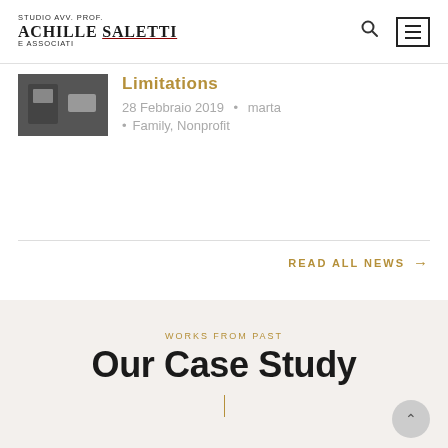STUDIO AVV. PROF. ACHILLE SALETTI E ASSOCIATI
Limitations
28 Febbraio 2019  •  marta
• Family, Nonprofit
READ ALL NEWS →
WORKS FROM PAST
Our Case Study